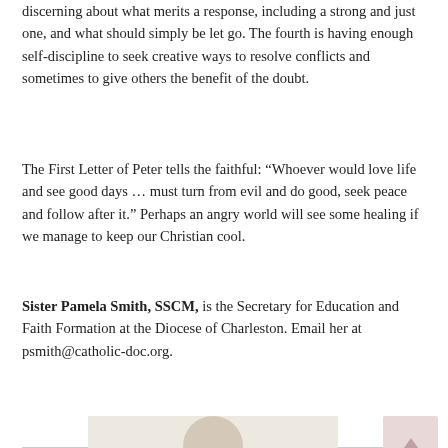discerning about what merits a response, including a strong and just one, and what should simply be let go. The fourth is having enough self-discipline to seek creative ways to resolve conflicts and sometimes to give others the benefit of the doubt.
The First Letter of Peter tells the faithful: “Whoever would love life and see good days … must turn from evil and do good, seek peace and follow after it.” Perhaps an angry world will see some healing if we manage to keep our Christian cool.
Sister Pamela Smith, SSCM, is the Secretary for Education and Faith Formation at the Diocese of Charleston. Email her at psmith@catholic-doc.org.
[Figure (infographic): Social media sharing bar with buttons for Facebook, Twitter, LinkedIn, Pinterest, Google+, Email, and Print]
[Figure (photo): Partial photo of a person at the bottom of the page]